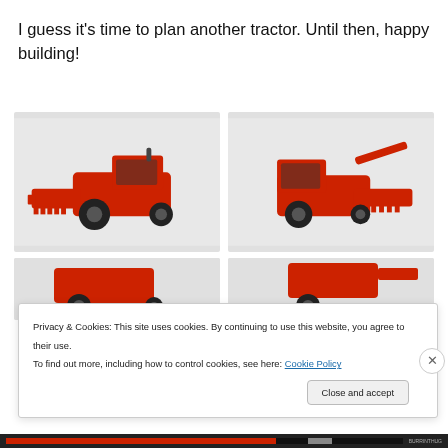I guess it's time to plan another tractor. Until then, happy building!
[Figure (photo): LEGO Technic red combine harvester model, front-left view, on white background]
[Figure (photo): LEGO Technic red combine harvester model, front-right view with extended header, on white background]
[Figure (photo): LEGO Technic red combine harvester model, partial view bottom-left]
[Figure (photo): LEGO Technic red combine harvester model, partial view bottom-right]
Privacy & Cookies: This site uses cookies. By continuing to use this website, you agree to their use.
To find out more, including how to control cookies, see here: Cookie Policy
Close and accept